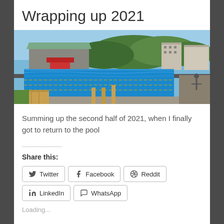Wrapping up 2021
[Figure (photo): Outdoor swimming pool with blue water, red changing building, wooden fence posts, and residential buildings in background under blue sky]
Summing up the second half of 2021, when I finally got to return to the pool
Share this:
Twitter  Facebook  Reddit  LinkedIn  WhatsApp
Loading...